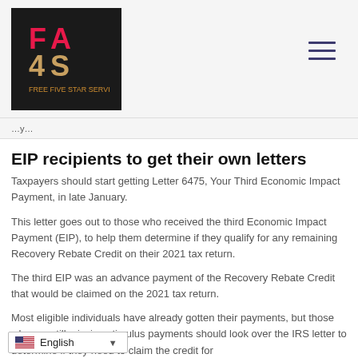FA4S logo and navigation hamburger menu
...y...
EIP recipients to get their own letters
Taxpayers should start getting Letter 6475, Your Third Economic Impact Payment, in late January.
This letter goes out to those who received the third Economic Impact Payment (EIP), to help them determine if they qualify for any remaining Recovery Rebate Credit on their 2021 tax return.
The third EIP was an advance payment of the Recovery Rebate Credit that would be claimed on the 2021 tax return.
Most eligible individuals have already gotten their payments, but those who are still missing stimulus payments should look over the IRS letter to determine if they need to claim the credit for...
English language selector